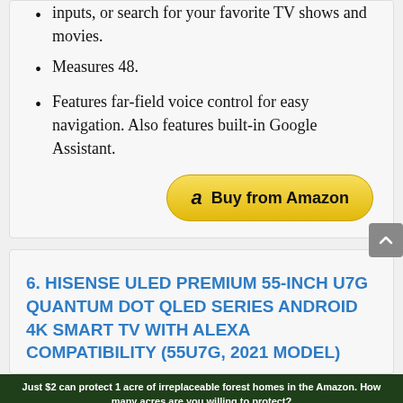inputs, or search for your favorite TV shows and movies.
Measures 48.
Features far-field voice control for easy navigation. Also features built-in Google Assistant.
[Figure (other): Buy from Amazon button with Amazon logo]
6. HISENSE ULED PREMIUM 55-INCH U7G QUANTUM DOT QLED SERIES ANDROID 4K SMART TV WITH ALEXA COMPATIBILITY (55U7G, 2021 MODEL)
[Figure (photo): Advertisement banner: Just $2 can protect 1 acre of irreplaceable forest homes in the Amazon. How many acres are you willing to protect? PROTECT FORESTS NOW]